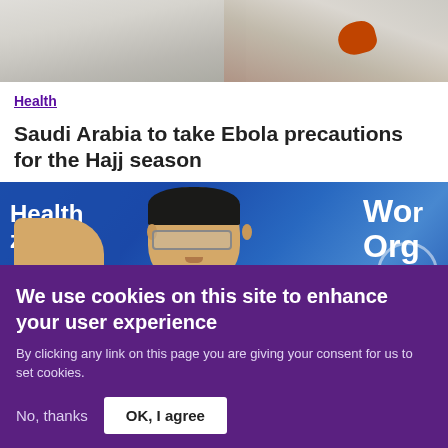[Figure (photo): Top portion of a photo showing people in white hazmat suits with orange gloves, likely related to an Ebola response]
Health
Saudi Arabia to take Ebola precautions for the Hajj season
[Figure (photo): A man in a black suit with a blue tie, wearing glasses, raising his hand at what appears to be a WHO (World Health Organization) press conference, with a blue WHO backdrop visible behind him]
We use cookies on this site to enhance your user experience
By clicking any link on this page you are giving your consent for us to set cookies.
No, thanks
OK, I agree